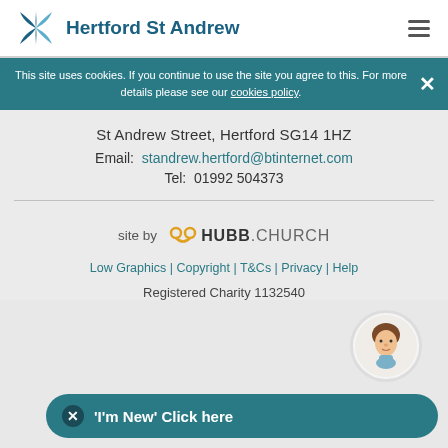Hertford St Andrew
This site uses cookies. If you continue to use the site you agree to this. For more details please see our cookies policy.
St Andrew Street, Hertford SG14 1HZ
Email: standrew.hertford@btinternet.com
Tel: 01992 504373
site by HUBB.CHURCH
Low Graphics | Copyright | T&Cs | Privacy | Help
Registered Charity 1132540
'I'm New' Click here